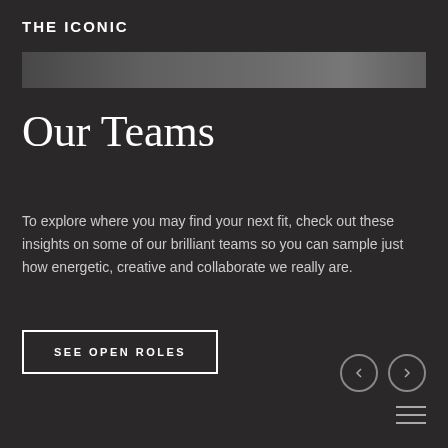THE ICONIC
[Figure (photo): Grayscale image strip showing partial view of people, used as decorative header band]
Our Teams
To explore where you may find your next fit, check out these insights on some of our brilliant teams so you can sample just how energetic, creative and collaborate we really are.
SEE OPEN ROLES